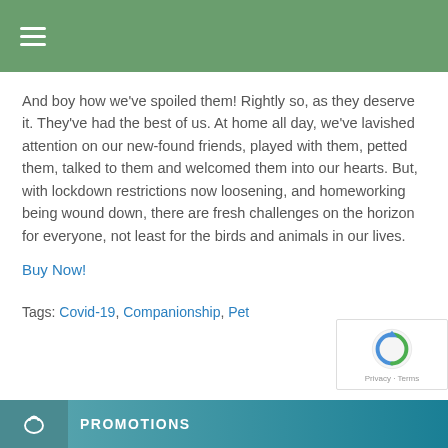≡
And boy how we've spoiled them! Rightly so, as they deserve it. They've had the best of us. At home all day, we've lavished attention on our new-found friends, played with them, petted them, talked to them and welcomed them into our hearts. But, with lockdown restrictions now loosening, and homeworking being wound down, there are fresh challenges on the horizon for everyone, not least for the birds and animals in our lives.
Buy Now!
Tags: Covid-19, Companionship, Pet
PROMOTIONS